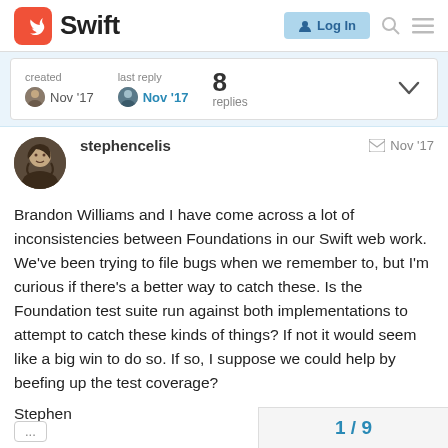Swift — Log In
| created | last reply | replies |
| --- | --- | --- |
| Nov '17 | Nov '17 | 8 |
stephencelis   Nov '17
Brandon Williams and I have come across a lot of inconsistencies between Foundations in our Swift web work. We've been trying to file bugs when we remember to, but I'm curious if there's a better way to catch these. Is the Foundation test suite run against both implementations to attempt to catch these kinds of things? If not it would seem like a big win to do so. If so, I suppose we could help by beefing up the test coverage?
Stephen
1 / 9